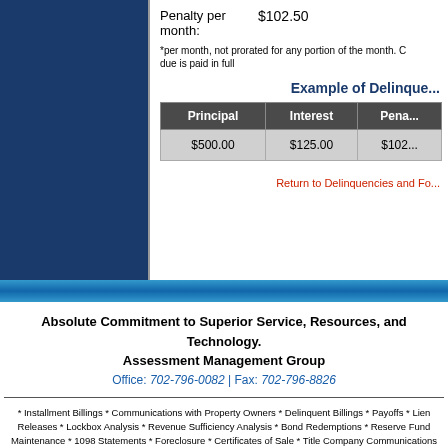Penalty per month: $102.50
*per month, not prorated for any portion of the month. C... due is paid in full
Example of Delinquencies
| Principal | Interest | Pena... |
| --- | --- | --- |
| $500.00 | $125.00 | $102... |
Return to Delinquencies and Fo...
Absolute Commitment to Superior Service, Resources, and Technology. Assessment Management Group Office: 702-796-0082 | Fax: 702-796-8826
* Installment Billings * Communications with Property Owners * Delinquent Billings * Payoffs * Lien Releases * Lockbox Analysis * Revenue Sufficiency Analysis * Bond Redemptions * Reserve Fund Maintenance * 1098 Statements * Foreclosure * Certificates of Sale * Title Company Communications * Mortgage Company Communications * Tax Service Coordination *
All Materials Copyright © 2001-2022 Assessment Management Group.